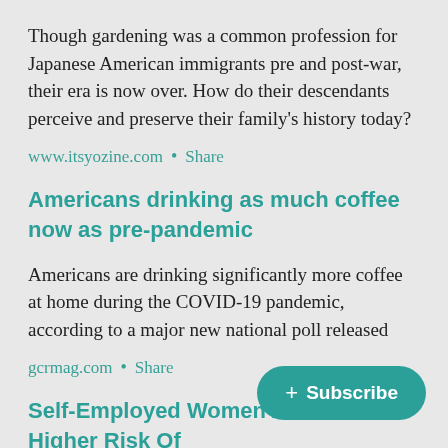Though gardening was a common profession for Japanese American immigrants pre and post-war, their era is now over. How do their descendants perceive and preserve their family's history today?
www.itsyozine.com  •  Share
Americans drinking as much coffee now as pre-pandemic
Americans are drinking significantly more coffee at home during the COVID-19 pandemic, according to a major new national poll released
gcrmag.com  •  Share
Self-Employed Women Are At A Higher Risk Of Having Poor Mental Health, According To Study
+ Subscribe